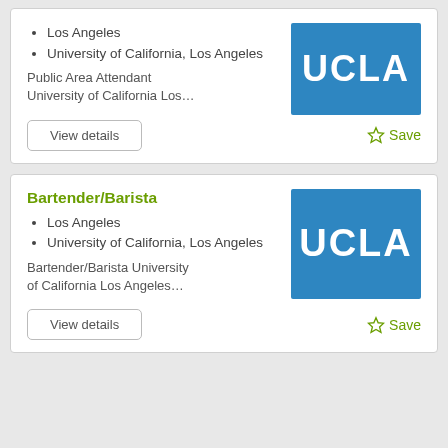Los Angeles
University of California, Los Angeles
[Figure (logo): UCLA logo — white text 'UCLA' on blue background]
Public Area Attendant University of California Los…
View details
☆ Save
Bartender/Barista
Los Angeles
University of California, Los Angeles
[Figure (logo): UCLA logo — white text 'UCLA' on blue background]
Bartender/Barista University of California Los Angeles…
View details
☆ Save